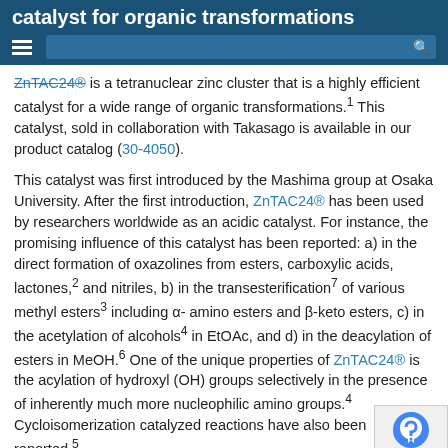catalyst for organic transformations
ZnTAC24® is a tetranuclear zinc cluster that is a highly efficient catalyst for a wide range of organic transformations.1 This catalyst, sold in collaboration with Takasago is available in our product catalog (30-4050).
This catalyst was first introduced by the Mashima group at Osaka University. After the first introduction, ZnTAC24® has been used by researchers worldwide as an acidic catalyst. For instance, the promising influence of this catalyst has been reported: a) in the direct formation of oxazolines from esters, carboxylic acids, lactones,2 and nitriles, b) in the transesterification7 of various methyl esters3 including α-amino esters and β-keto esters, c) in the acetylation of alcohols4 in EtOAc, and d) in the deacylation of esters in MeOH.6 One of the unique properties of ZnTAC24® is the acylation of hydroxyl (OH) groups selectively in the presence of inherently much more nucleophilic amino groups.4 Cycloisomerization catalyzed reactions have also been reported.5